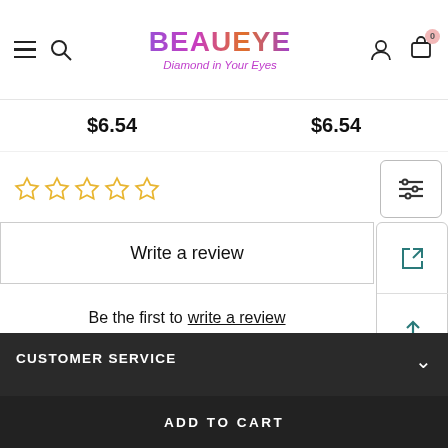BEAUEYE - Diamond in Your Eyes
$6.54   $6.54
★★★★★ (0 stars, empty rating)
Write a review
Be the first to write a review
CUSTOMER SERVICE
ADD TO CART